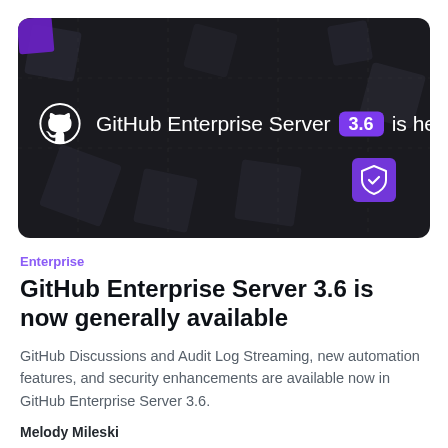[Figure (illustration): Dark banner image with GitHub logo and text 'GitHub Enterprise Server 3.6 is here!' with a purple version badge '3.6' and a shield icon in the bottom right]
Enterprise
GitHub Enterprise Server 3.6 is now generally available
GitHub Discussions and Audit Log Streaming, new automation features, and security enhancements are available now in GitHub Enterprise Server 3.6.
Melody Mileski